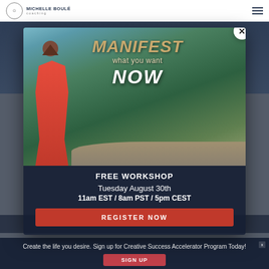Michelle Boulé Coaching
[Figure (screenshot): Background page showing partially visible 'Creative Success Acceleration' banner in dark navy/grey tone]
[Figure (infographic): Modal popup with mountain landscape background, woman in red dress, text: MANIFEST what you want NOW, FREE WORKSHOP, Tuesday August 30th, 11am EST / 8am PST / 5pm CEST, REGISTER NOW button]
Create the life you desire. Sign up for Creative Success Accelerator Program Today!
SIGN UP